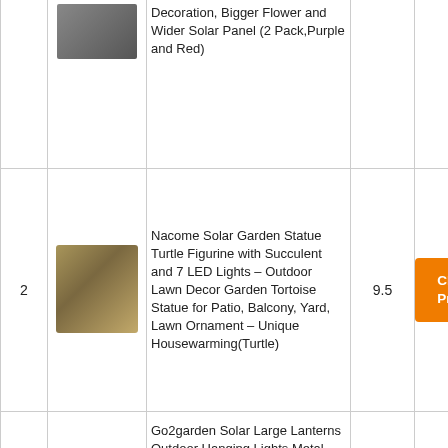| # | Image | Product | Score | Action |
| --- | --- | --- | --- | --- |
|  |  | Decoration, Bigger Flower and Wider Solar Panel (2 Pack,Purple and Red) |  | Check Price |
| 2 | [turtle image] | Nacome Solar Garden Statue Turtle Figurine with Succulent and 7 LED Lights – Outdoor Lawn Decor Garden Tortoise Statue for Patio, Balcony, Yard, Lawn Ornament – Unique Housewarming(Turtle) | 9.5 | Check Price |
| 3 | [lantern image] | Go2garden Solar Large Lanterns Outdoor Hanging Lights Metal Decorative Garden Lights Waterproof Solar Lantern for Table, Patio, | 9.52 | Check Price |